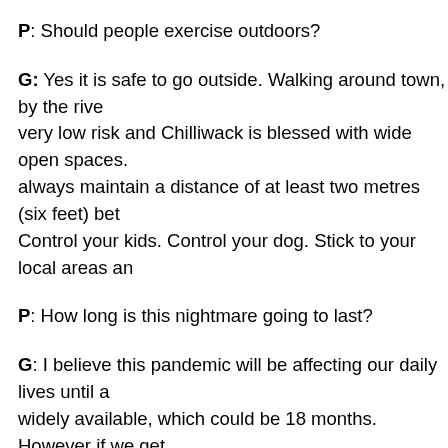P: Should people exercise outdoors?
G: Yes it is safe to go outside. Walking around town, by the river, very low risk and Chilliwack is blessed with wide open spaces. always maintain a distance of at least two metres (six feet) between. Control your kids. Control your dog. Stick to your local areas ar
P: How long is this nightmare going to last?
G: I believe this pandemic will be affecting our daily lives until a widely available, which could be 18 months. However if we get restrictions only need to be in place for another month or two. T capacity to test more people we can gradually reduce restrictio
P: How is the stress of being a healthcare worker during a pan